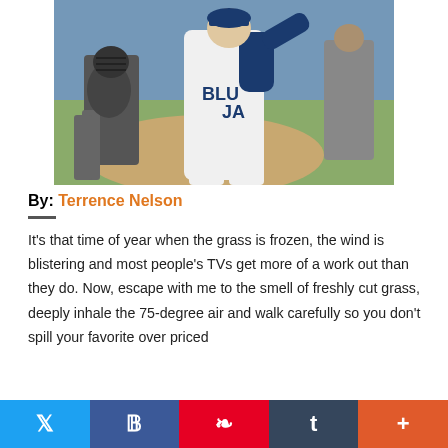[Figure (photo): A baseball player in a white Blue Jays uniform swinging or gesturing at home plate, with a catcher in gear visible in the background on a sunny day]
By: Terrence Nelson
It’s that time of year when the grass is frozen, the wind is blistering and most people’s TVs get more of a work out than they do. Now, escape with me to the smell of freshly cut grass, deeply inhale the 75-degree air and walk carefully so you don’t spill your favorite over priced